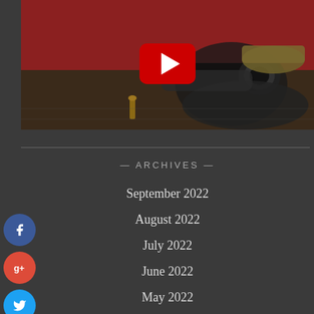[Figure (photo): Person lying on ground looking through camera lens, with YouTube play button overlay, red background]
— ARCHIVES —
September 2022
August 2022
July 2022
June 2022
May 2022
April 2022